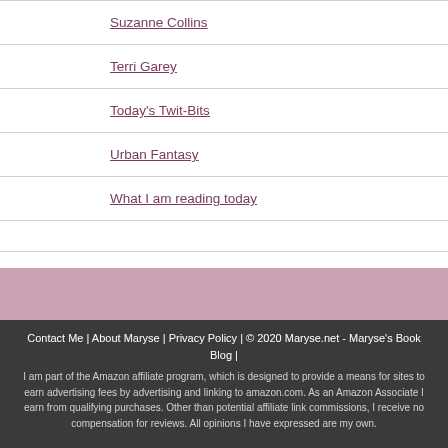Suzanne Collins
Terri Garey
Today's Twit-Bits
Urban Fantasy
What I am reading today
Contact Me | About Maryse | Privacy Policy | © 2020 Maryse.net - Maryse's Book Blog | I am part of the Amazon affiliate program, which is designed to provide a means for sites to earn advertising fees by advertising and linking to amazon.com. As an Amazon Associate I earn from qualifying purchases. Other than potential affiliate link commissions, I receive no compensation for reviews. All opinions I have expressed are my own.